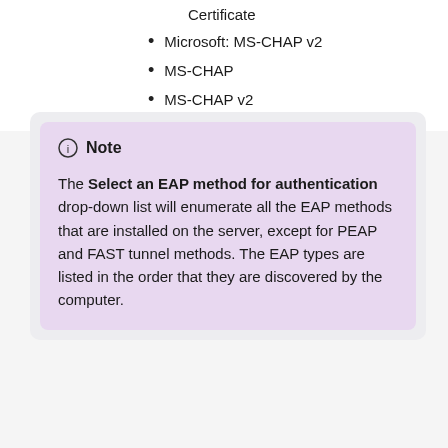Certificate
Microsoft: MS-CHAP v2
MS-CHAP
MS-CHAP v2
Note
The Select an EAP method for authentication drop-down list will enumerate all the EAP methods that are installed on the server, except for PEAP and FAST tunnel methods. The EAP types are listed in the order that they are discovered by the computer.